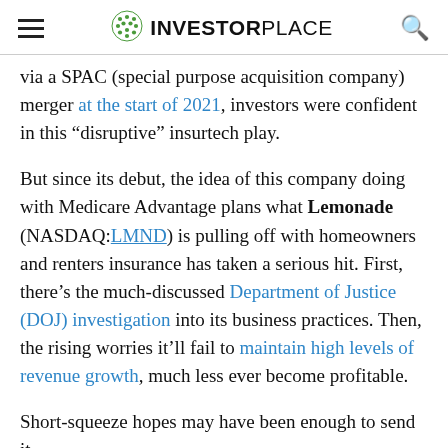INVESTORPLACE
via a SPAC (special purpose acquisition company) merger at the start of 2021, investors were confident in this “disruptive” insurtech play.
But since its debut, the idea of this company doing with Medicare Advantage plans what Lemonade (NASDAQ:LMND) is pulling off with homeowners and renters insurance has taken a serious hit. First, there’s the much-discussed Department of Justice (DOJ) investigation into its business practices. Then, the rising worries it’ll fail to maintain high levels of revenue growth, much less ever become profitable.
Short-squeeze hopes may have been enough to send it